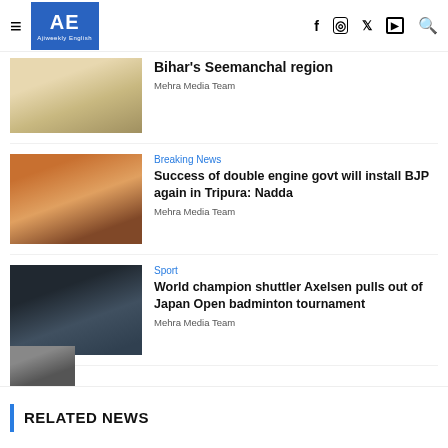AE Ajiweekly English — navigation header with hamburger menu, logo, and social icons (f, Instagram, Twitter, YouTube, Search)
Bihar's Seemanchal region
Mehra Media Team
Breaking News
Success of double engine govt will install BJP again in Tripura: Nadda
Mehra Media Team
Sport
World champion shuttler Axelsen pulls out of Japan Open badminton tournament
Mehra Media Team
RELATED NEWS